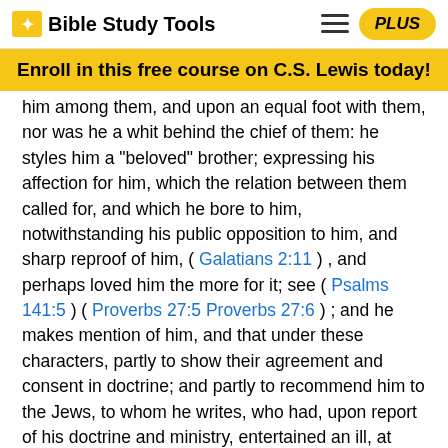Bible Study Tools
Enroll in this free course on C.S. Lewis today!
him among them, and upon an equal foot with them, nor was he a whit behind the chief of them: he styles him a "beloved" brother; expressing his affection for him, which the relation between them called for, and which he bore to him, notwithstanding his public opposition to him, and sharp reproof of him, ( Galatians 2:11 ) , and perhaps loved him the more for it; see ( Psalms 141:5 ) ( Proverbs 27:5 Proverbs 27:6 ) ; and he makes mention of him, and that under these characters, partly to show their agreement and consent in doctrine; and partly to recommend him to the Jews, to whom he writes, who had, upon report of his doctrine and ministry, entertained an ill, at least a mean opinion, of him; as also to set us an example to speak well of one another, both as ministers and private believers;